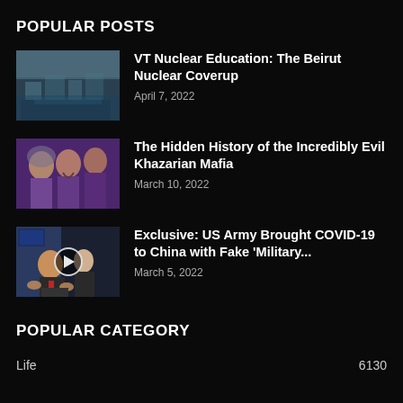POPULAR POSTS
VT Nuclear Education: The Beirut Nuclear Coverup
April 7, 2022
The Hidden History of the Incredibly Evil Khazarian Mafia
March 10, 2022
Exclusive: US Army Brought COVID-19 to China with Fake 'Military...
March 5, 2022
POPULAR CATEGORY
Life	6130